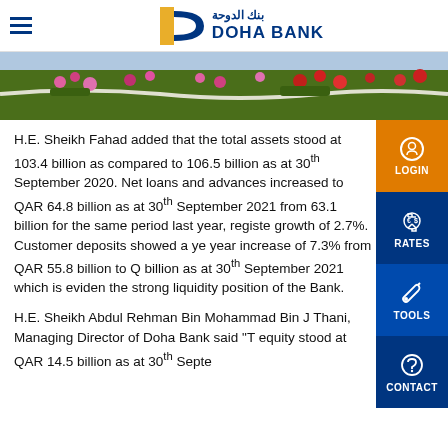Doha Bank
[Figure (photo): Flower garden image with pink and red flowers]
H.E. Sheikh Fahad added that the total assets stood at 103.4 billion as compared to 106.5 billion as at 30th September 2020. Net loans and advances increased to QAR 64.8 billion as at 30th September 2021 from 63.1 billion for the same period last year, registered growth of 2.7%. Customer deposits showed a year-year increase of 7.3% from QAR 55.8 billion to QAR billion as at 30th September 2021 which is evidence of the strong liquidity position of the Bank.
H.E. Sheikh Abdul Rehman Bin Mohammad Bin Jassim Thani, Managing Director of Doha Bank said "T... equity stood at QAR 14.5 billion as at 30th September..."